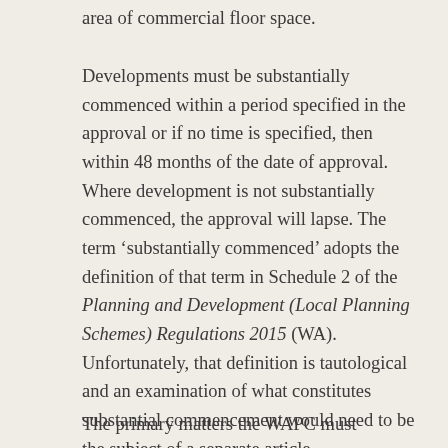area of commercial floor space.
Developments must be substantially commenced within a period specified in the approval or if no time is specified, then within 48 months of the date of approval. Where development is not substantially commenced, the approval will lapse. The term ‘substantially commenced’ adopts the definition of that term in Schedule 2 of the Planning and Development (Local Planning Schemes) Regulations 2015 (WA). Unfortunately, that definition is tautological and an examination of what constitutes substantial commencement would need to be the subject of a separate article.
The primary matters the WAPC must consider